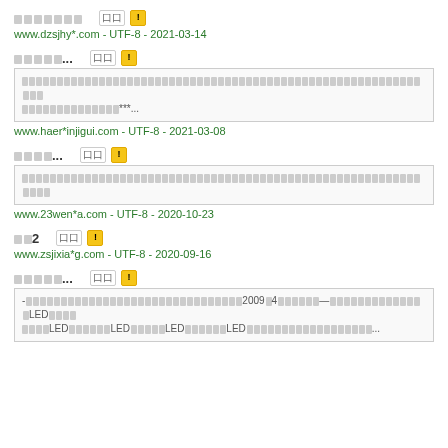口口口口口口口 [口口] ! www.dzsjhy*.com - UTF-8 - 2021-03-14
口口口口口... [口口] ! snippet: 口口口口口口口口口口口口口口口口口口口口口口口口口口口口口口口口口口口口口口口口口口口口口口口口口口口口口口口口口口口口口口口口口口口口口口口口口口口口口口口口口口口口口口口口口口口口口口口口口口口口口口口口口口口口口口口口口口口口口口口口口口口口口口口口口口口口口口口口口口口口口口口口口口口口口口口口口口口*** ... www.haer*injigui.com - UTF-8 - 2021-03-08
口口口口... [口口] ! snippet: 口口口口口口口口口口口口口口口口口口口口口口口口口口口口口口口口口口口口口口口口口口口口口口口口口口口口口口口口口口口口口口口口口口口口口口口口口口口口口口口口口口口口口口口口口口 www.23wen*a.com - UTF-8 - 2020-10-23
口口2 [口口] ! www.zsjixia*g.com - UTF-8 - 2020-09-16
口口口口口... [口口] ! snippet: -口口口口口口口口口口口口口口口口口口口口口口口口口口口口口口口口口口2009口4口口口口口口口—口口口口口口口口口口口口口口口口LED口口口口口口口LED口口口口口口口LED口口口口口口LED口口口口口口口LED口口口口口口口口口口口口口口口口口口口口口 ...